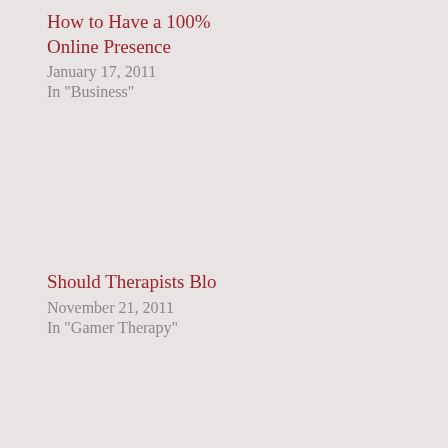How to Have a 100% Online Presence
January 17, 2011
In "Business"
Should Therapists Blo...
November 21, 2011
In "Gamer Therapy"
Filed Under: Busin...
Comments
njsmyth says
June 24, 2011 at 6:35
I agree completely... guaranteed safety from the world. Th...